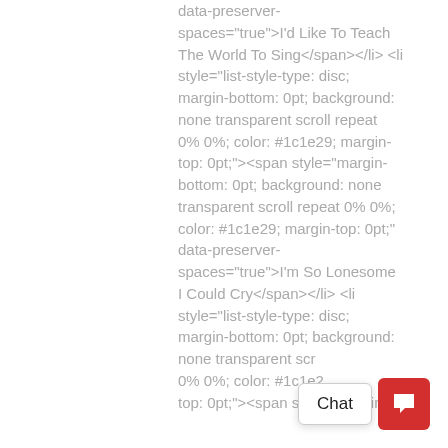data-preserver-spaces="true">I'd Like To Teach The World To Sing</span></li> <li style="list-style-type: disc; margin-bottom: 0pt; background: none transparent scroll repeat 0% 0%; color: #1c1e29; margin-top: 0pt;"><span style="margin-bottom: 0pt; background: none transparent scroll repeat 0% 0%; color: #1c1e29; margin-top: 0pt;" data-preserver-spaces="true">I'm So Lonesome I Could Cry</span></li> <li style="list-style-type: disc; margin-bottom: 0pt; background: none transparent scroll repeat 0% 0%; color: #1c1e29; margin-top: 0pt;"><span style="margin-
[Figure (other): Chat widget with a white speech bubble showing 'Chat' text and a red square button with a speech bubble icon]